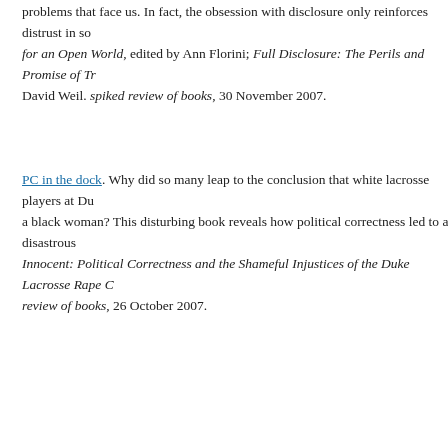problems that face us. In fact, the obsession with disclosure only reinforces distrust in so [continued] for an Open World, edited by Ann Florini; Full Disclosure: The Perils and Promise of Tr[ansparency] David Weil. spiked review of books, 30 November 2007.
PC in the dock. Why did so many leap to the conclusion that white lacrosse players at Du[ke raped] a black woman? This disturbing book reveals how political correctness led to a disastrous [outcome.] Innocent: Political Correctness and the Shameful Injustices of the Duke Lacrosse Rape C[ase]. spiked review of books, 26 October 2007.